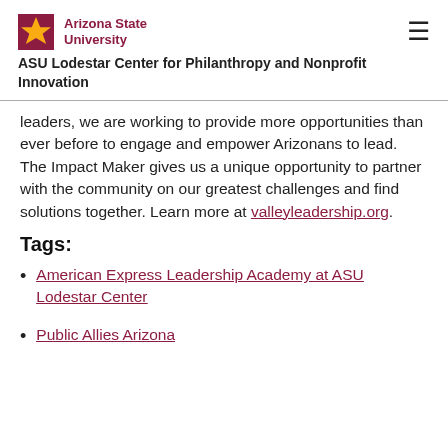ASU Lodestar Center for Philanthropy and Nonprofit Innovation
leaders, we are working to provide more opportunities than ever before to engage and empower Arizonans to lead. The Impact Maker gives us a unique opportunity to partner with the community on our greatest challenges and find solutions together. Learn more at valleyleadership.org.
Tags:
American Express Leadership Academy at ASU Lodestar Center
Public Allies Arizona